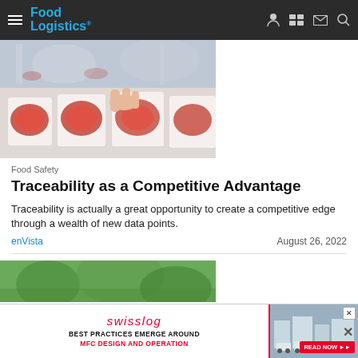Food Logistics
[Figure (photo): Person picking up packaged red meat from a refrigerated display case in a supermarket]
Food Safety
Traceability as a Competitive Advantage
Traceability is actually a great opportunity to create a competitive edge through a wealth of new data points.
enVista   August 26, 2022
[Figure (photo): Partial view of a second article's thumbnail image showing green foliage]
[Figure (screenshot): Swisslog advertisement banner: BEST PRACTICES EMERGE AROUND MFC DESIGN AND OPERATION. READ NOW >>]